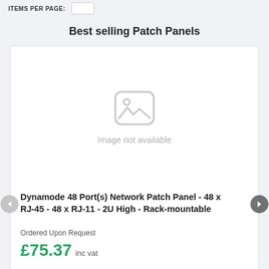ITEMS PER PAGE: 24
Best selling Patch Panels
[Figure (illustration): Image not available placeholder icon with mountain/image symbol inside a rounded rectangle]
Image not available
Dynamode 48 Port(s) Network Patch Panel - 48 x RJ-45 - 48 x RJ-11 - 2U High - Rack-mountable
Ordered Upon Request
£75.37 inc vat